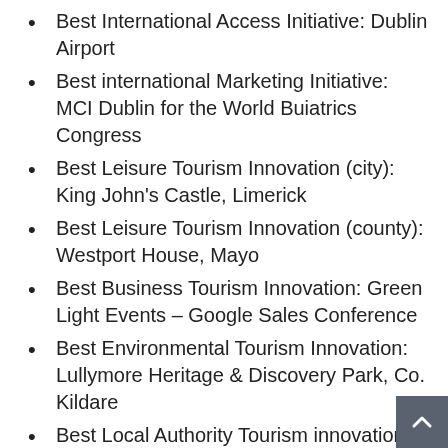Best International Access Initiative: Dublin Airport
Best international Marketing Initiative: MCI Dublin for the World Buiatrics Congress
Best Leisure Tourism Innovation (city): King John's Castle, Limerick
Best Leisure Tourism Innovation (county): Westport House, Mayo
Best Business Tourism Innovation: Green Light Events – Google Sales Conference
Best Environmental Tourism Innovation: Lullymore Heritage & Discovery Park, Co. Kildare
Best Local Authority Tourism innovation: The Lough Derg Marketing Group (a joint